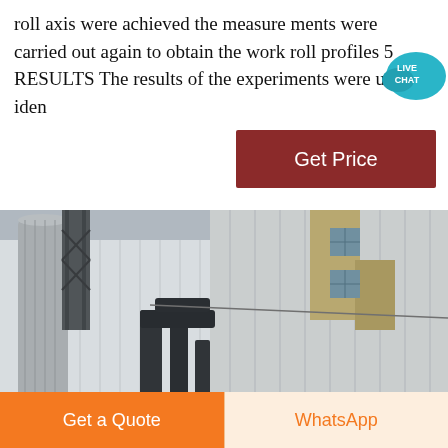roll axis were achieved the measure ments were carried out again to obtain the work roll profiles 5 RESULTS The results of the experiments were used to iden
[Figure (photo): Industrial facility exterior showing grain silos, metal ductwork, large corrugated metal building walls, and conveyor equipment. The scene depicts a milling or processing plant.]
Get a Quote
WhatsApp